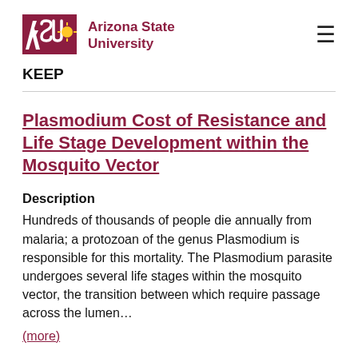ASU Arizona State University
KEEP
Plasmodium Cost of Resistance and Life Stage Development within the Mosquito Vector
Description
Hundreds of thousands of people die annually from malaria; a protozoan of the genus Plasmodium is responsible for this mortality. The Plasmodium parasite undergoes several life stages within the mosquito vector, the transition between which require passage across the lumen…
(more)